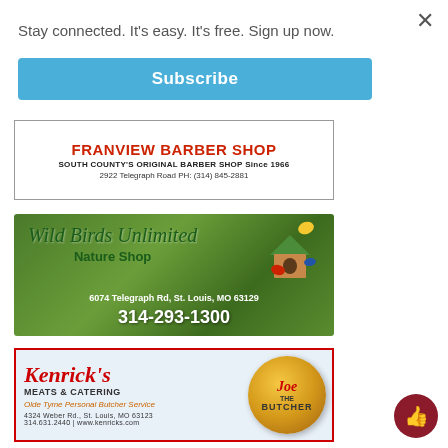Stay connected. It's easy. It's free. Sign up now.
Subscribe
[Figure (illustration): Franview Barber Shop advertisement with red bold title, subtitle 'South County's Original Barber Shop Since 1966', address 2922 Telegraph Road PH: (314) 845-2881]
[Figure (illustration): Wild Birds Unlimited Nature Shop advertisement on green leafy background with logo, address 6074 Telegraph Rd, St. Louis, MO 63129, phone 314-293-1300]
[Figure (illustration): Kenrick's Meats & Catering advertisement with red script logo, 'Olde Tyme Personal Butcher Service', address 4324 Weber Rd., St. Louis, MO 63123, 314.631.2440, www.kenricks.com, Joe the Butcher mascot logo]